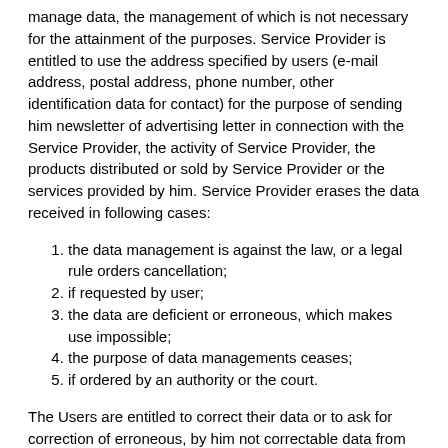manage data, the management of which is not necessary for the attainment of the purposes. Service Provider is entitled to use the address specified by users (e-mail address, postal address, phone number, other identification data for contact) for the purpose of sending him newsletter of advertising letter in connection with the Service Provider, the activity of Service Provider, the products distributed or sold by Service Provider or the services provided by him. Service Provider erases the data received in following cases:
the data management is against the law, or a legal rule orders cancellation;
if requested by user;
the data are deficient or erroneous, which makes use impossible;
the purpose of data managements ceases;
if ordered by an authority or the court.
The Users are entitled to correct their data or to ask for correction of erroneous, by him not correctable data from Service Provider. The user can ask for information about the management of its data.
Service Provider provides for the security of the data. For that purpose he takes all necessary technical and organizational measures for both data stored by electronic means and data files